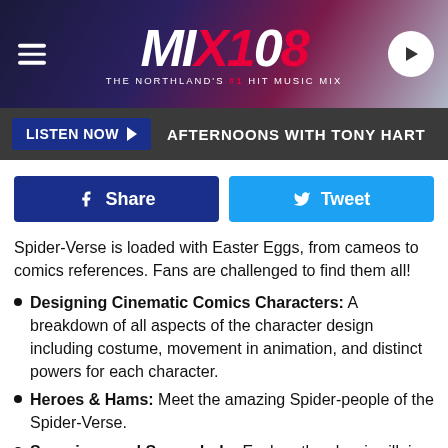MIX108 - THE NORTHLAND'S #1 HIT MUSIC MIX
[Figure (screenshot): MIX108 radio station logo with hamburger menu and play button]
LISTEN NOW ▶  AFTERNOONS WITH TONY HART
Share  Tweet
Spider-Verse is loaded with Easter Eggs, from cameos to comics references. Fans are challenged to find them all!
Designing Cinematic Comics Characters: A breakdown of all aspects of the character design including costume, movement in animation, and distinct powers for each character.
Heroes & Hams: Meet the amazing Spider-people of the Spider-Verse.
Scorpions and Scoundrels: Explore the classic villains who wreak havoc on the Spider-Verse.
Alternate Universe Mode: In this all-new viewing experience, discover alternate scenes, plotlines,